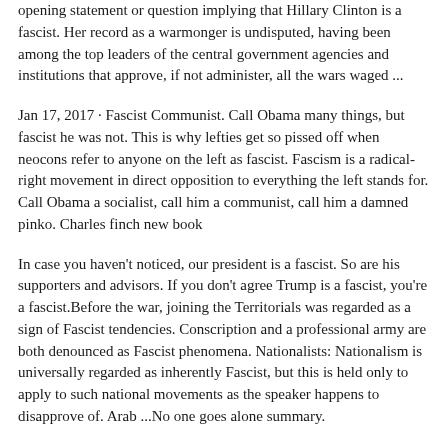opening statement or question implying that Hillary Clinton is a fascist. Her record as a warmonger is undisputed, having been among the top leaders of the central government agencies and institutions that approve, if not administer, all the wars waged ...
Jan 17, 2017 · Fascist Communist. Call Obama many things, but fascist he was not. This is why lefties get so pissed off when neocons refer to anyone on the left as fascist. Fascism is a radical-right movement in direct opposition to everything the left stands for. Call Obama a socialist, call him a communist, call him a damned pinko. Charles finch new book
In case you haven't noticed, our president is a fascist. So are his supporters and advisors. If you don't agree Trump is a fascist, you're a fascist.Before the war, joining the Territorials was regarded as a sign of Fascist tendencies. Conscription and a professional army are both denounced as Fascist phenomena. Nationalists: Nationalism is universally regarded as inherently Fascist, but this is held only to apply to such national movements as the speaker happens to disapprove of. Arab ...No one goes alone summary.
WASHINGTON ( The Borowitz Report )—Senator Josh Hawley is "deeply concerned" that his newfound national reputation for cowardice is overshadowing his commitment to end democracy. "People... Essential to the fascist mindset is Orwellian doublethink